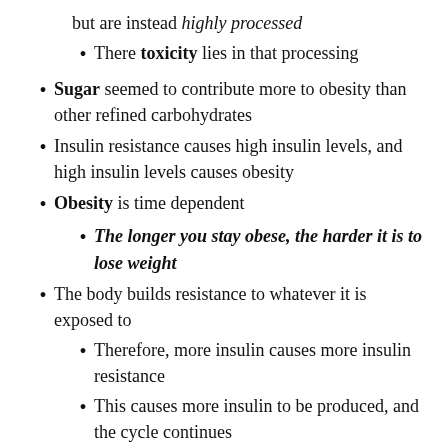but are instead highly processed
There toxicity lies in that processing
Sugar seemed to contribute more to obesity than other refined carbohydrates
Insulin resistance causes high insulin levels, and high insulin levels causes obesity
Obesity is time dependent
The longer you stay obese, the harder it is to lose weight
The body builds resistance to whatever it is exposed to
Therefore, more insulin causes more insulin resistance
This causes more insulin to be produced, and the cycle continues
The staring point of the vicious cycle is high